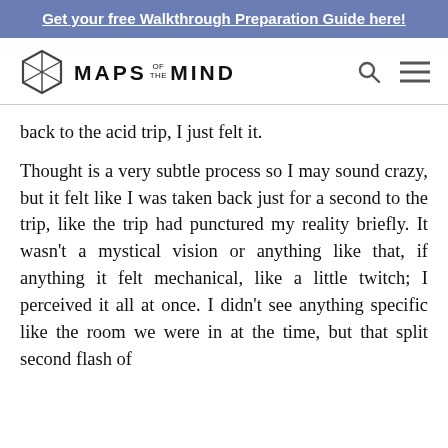Get your free Walkthrough Preparation Guide here!
[Figure (logo): Maps of the Mind logo with hexagon icon and search/menu icons]
back to the acid trip, I just felt it.
Thought is a very subtle process so I may sound crazy, but it felt like I was taken back just for a second to the trip, like the trip had punctured my reality briefly. It wasn't a mystical vision or anything like that, if anything it felt mechanical, like a little twitch; I perceived it all at once. I didn't see anything specific like the room we were in at the time, but that split second flash of